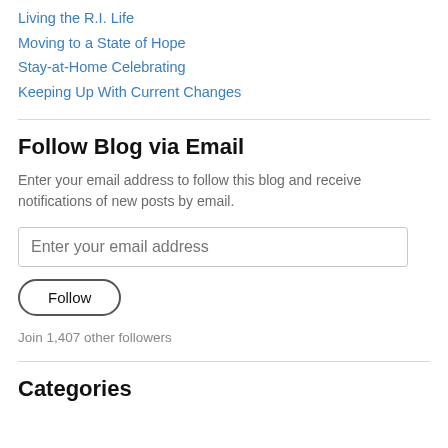Living the R.I. Life
Moving to a State of Hope
Stay-at-Home Celebrating
Keeping Up With Current Changes
Follow Blog via Email
Enter your email address to follow this blog and receive notifications of new posts by email.
Enter your email address
Follow
Join 1,407 other followers
Categories